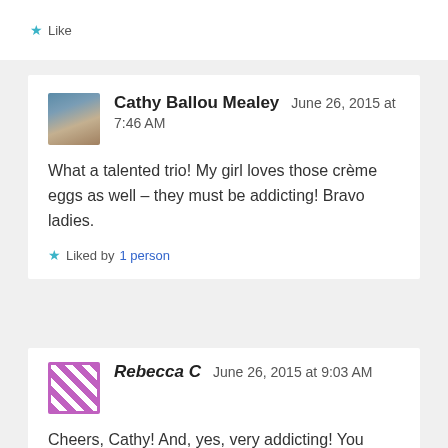Like
Cathy Ballou Mealey   June 26, 2015 at 7:46 AM
What a talented trio! My girl loves those crème eggs as well – they must be addicting! Bravo ladies.
Liked by 1 person
Rebecca C   June 26, 2015 at 9:03 AM
Cheers, Cathy! And, yes, very addicting! You